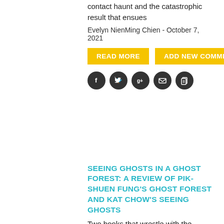contact haunt and the catastrophic result that ensues
Evelyn NienMing Chien - October 7, 2021
READ MORE | ADD NEW COMMENT
[Figure (infographic): Row of five social media/share icon circles: Facebook (f), Twitter (bird), Google+ (g+), Email (envelope), Copy/clipboard (document icon). All circles are dark/black with white icons.]
SEEING GHOSTS IN A GHOST FOREST: A REVIEW OF PIK-SHUEN FUNG'S GHOST FOREST AND KAT CHOW'S SEEING GHOSTS
Two books that wrestle with the complexities of haunting
Kathy Chow - September 30, 2021